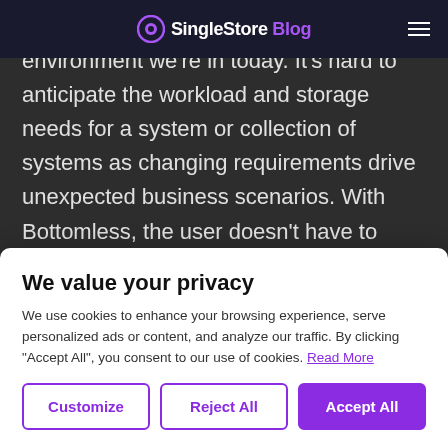SingleStore Blog
To close, I'll note the dynamic macro environment we're in today. It's hard to anticipate the workload and storage needs for a system or collection of systems as changing requirements drive unexpected business scenarios. With Bottomless, the user doesn't have to worry about provisioning storage, nor managing backups and durability. And changing the cluster size is a fully online size-of-
We value your privacy
We use cookies to enhance your browsing experience, serve personalized ads or content, and analyze our traffic. By clicking "Accept All", you consent to our use of cookies. Read More
Customize
Reject All
Accept All